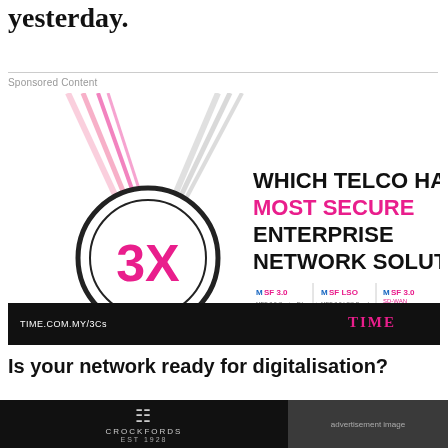yesterday.
Sponsored Content
[Figure (infographic): Advertisement for TIME telco showing a medal with '3X' in pink, text reading 'WHICH TELCO HAS THE MOST SECURE ENTERPRISE NETWORK SOLUTION?' with MSF 3.0 logos for Carrier Ethernet, LSO Bonds, and SD-WAN. Bottom bar shows TIME.COM.MY/3Cs and TIME logo.]
Is your network ready for digitalisation?
The right connectivity is critical to the success of
Crockfords advertisement footer